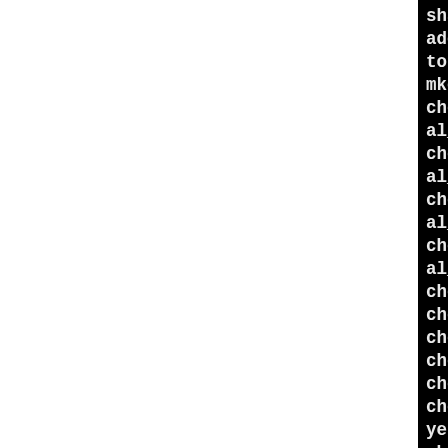shared (all)
adding "-I$(top_srcdir)/mo
to INCLUDES
mkdir modules/test
checking whether to enable
al_hook_export... no
checking whether to enable
al_hook_import... no
checking whether to enable
al_fn_import... no
checking whether to enable
al_fn_export... no
checking for target platfo
checking for rlim_t... yes
checking sys/time.h usabi
checking sys/time.h presen
checking for sys/time.h..
checking sys/resource.h us
yes
checking sys/resource.h pr
es
checking for sys/resource
checking for sys/sem.h...
s